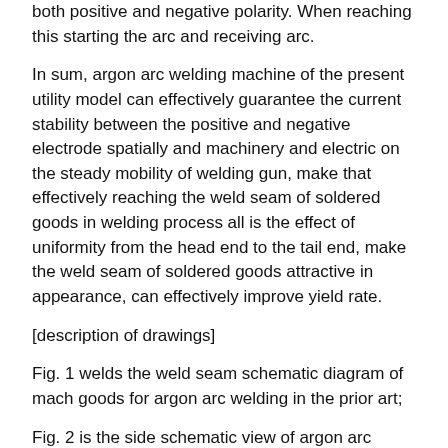both positive and negative polarity. When reaching this starting the arc and receiving arc.
In sum, argon arc welding machine of the present utility model can effectively guarantee the current stability between the positive and negative electrode spatially and machinery and electric on the steady mobility of welding gun, make that effectively reaching the weld seam of soldered goods in welding process all is the effect of uniformity from the head end to the tail end, make the weld seam of soldered goods attractive in appearance, can effectively improve yield rate.
[description of drawings]
Fig. 1 welds the weld seam schematic diagram of mach goods for argon arc welding in the prior art;
Fig. 2 is the side schematic view of argon arc welding machine in the utility model;
Fig. 3 is the interarea schematic diagram of argon arc welding machine in the utility model;
Fig. 4 is the local schematic top plan view of arc welding